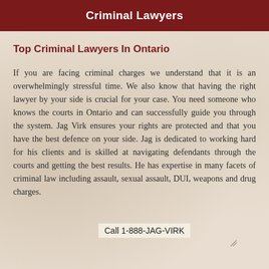Criminal Lawyers
Top Criminal Lawyers In Ontario
If you are facing criminal charges we understand that it is an overwhelmingly stressful time. We also know that having the right lawyer by your side is crucial for your case. You need someone who knows the courts in Ontario and can successfully guide you through the system. Jag Virk ensures your rights are protected and that you have the best defence on your side. Jag is dedicated to working hard for his clients and is skilled at navigating defendants through the courts and getting the best results. He has expertise in many facets of criminal law including assault, sexual assault, DUI, weapons and drug charges.
Call 1-888-JAG-VIRK